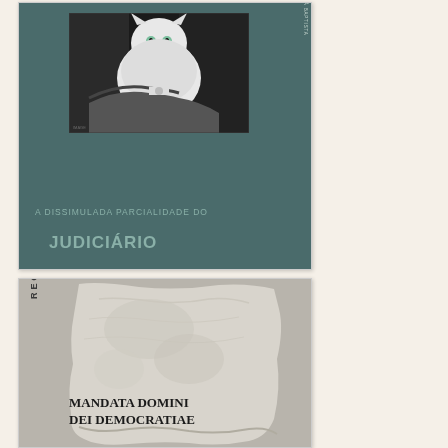[Figure (illustration): Book or article cover with teal/dark green background. Features a black and white photo of a white fluffy cat being held by a gloved hand. Vertical text on the right side reads 'POR BÁRBARA GOMES LICITEIRÃ BAPTISTA'. Bottom text reads 'A DISSIMULADA PARCIALIDADE DO JUDICIÁRIO' in two lines with 'JUDICIÁRIO' in larger bold text.]
[Figure (illustration): Book or article cover with grey background. Features an image of a weathered stone tablet. Vertical text on the left reads 'RECADO'. Main text on the stone reads 'MANDATA DOMINI DEI DEMOCRATIAE' in bold serif font.]